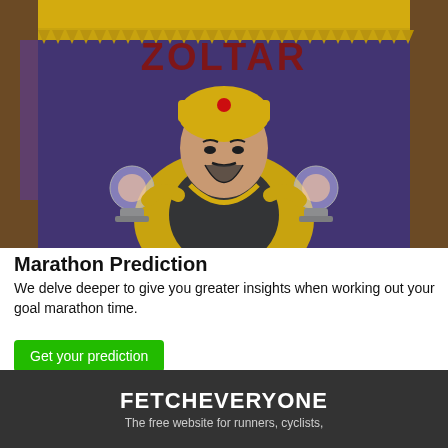[Figure (photo): Photo of Zoltar fortune teller arcade machine wearing yellow robes and turban, holding crystal balls, with 'ZOLTAR' text visible above]
Marathon Prediction
We delve deeper to give you greater insights when working out your goal marathon time.
Get your prediction
FETCHEVERYONE
The free website for runners, cyclists,